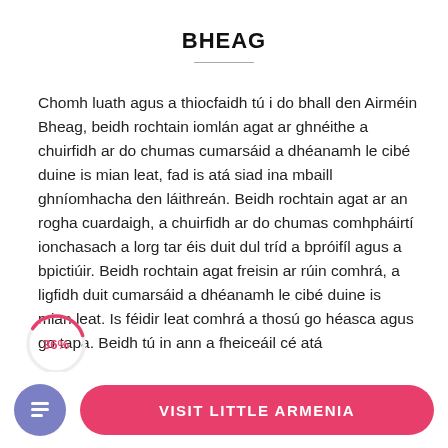BHEAG
Chomh luath agus a thiocfaidh tú i do bhall den Airméin Bheag, beidh rochtain iomlán agat ar ghnéithe a chuirfidh ar do chumas cumarsáid a dhéanamh le cibé duine is mian leat, fad is atá siad ina mbaill ghníomhacha den láithreán. Beidh rochtain agat ar an rogha cuardaigh, a chuirfidh ar do chumas comhpháirtí ionchasach a lorg tar éis duit dul tríd a bpróifíl agus a bpictiúir. Beidh rochtain agat freisin ar rúin comhrá, a ligfidh duit cumarsáid a dhéanamh le cibé duine is mian leat. Is féidir leat comhrá a thosú go héasca agus go tapa. Beidh tú in ann a fheiceáil cé atá
[Figure (infographic): A circular progress indicator showing 36% in pink/red outline on the left side of the text]
VISIT LITTLE ARMENIA